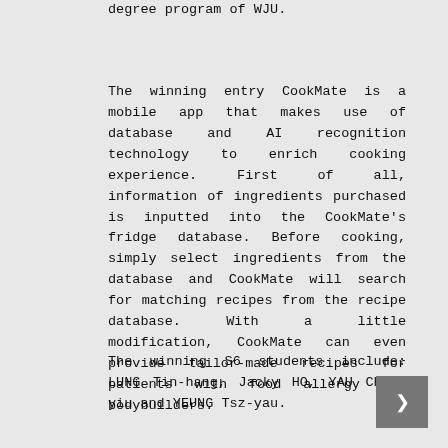degree program of WJU.
The winning entry CookMate is a mobile app that makes use of database and AI recognition technology to enrich cooking experience. First of all, information of ingredients purchased is inputted into the CookMate's fridge database. Before cooking, simply select ingredients from the database and CookMate will search for matching recipes from the recipe database. With a little modification, CookMate can even provide tailor-made recipes for patients with food allergy and bodybuilders.
The winning S6 students include: LUNG Tin-hang, Jacky HO, YAU Chun-yiu and YEUNG Tsz-yau.